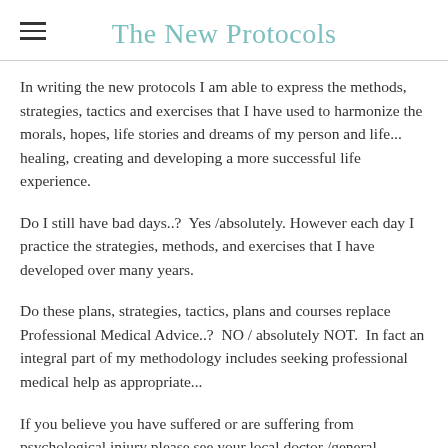The New Protocols
In writing the new protocols I am able to express the methods, strategies, tactics and exercises that I have used to harmonize the morals, hopes, life stories and dreams of my person and life... healing, creating and developing a more successful life experience.
Do I still have bad days..?  Yes /absolutely. However each day I practice the strategies, methods, and exercises that I have developed over many years.
Do these plans, strategies, tactics, plans and courses replace Professional Medical Advice..?  NO / absolutely NOT.  In fact an integral part of my methodology includes seeking professional medical help as appropriate...
If you believe you have suffered or are suffering from psychological injury please see your local doctor /general